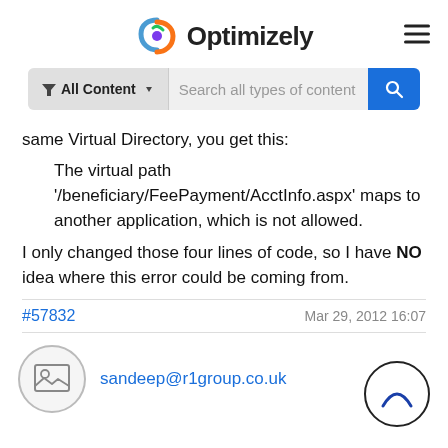Optimizely
[Figure (screenshot): Search bar with filter dropdown 'All Content' and placeholder 'Search all types of content' and blue search button]
same Virtual Directory, you get this:
The virtual path '/beneficiary/FeePayment/AcctInfo.aspx' maps to another application, which is not allowed.
I only changed those four lines of code, so I have NO idea where this error could be coming from.
#57832   Mar 29, 2012 16:07
sandeep@r1group.co.uk